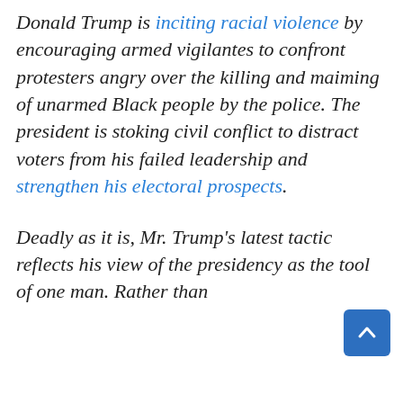Donald Trump is inciting racial violence by encouraging armed vigilantes to confront protesters angry over the killing and maiming of unarmed Black people by the police. The president is stoking civil conflict to distract voters from his failed leadership and strengthen his electoral prospects.
Deadly as it is, Mr. Trump's latest tactic reflects his view of the presidency as the tool of one man. Rather than...